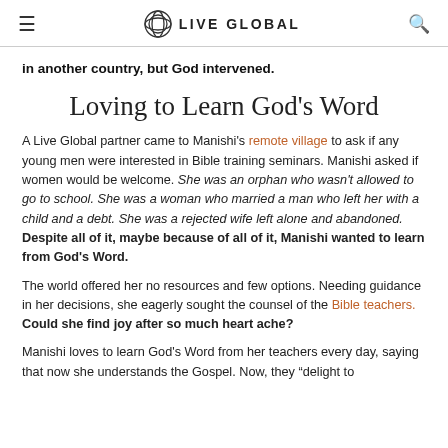≡  LIVE GLOBAL  🔍
in another country, but God intervened.
Loving to Learn God's Word
A Live Global partner came to Manishi's remote village to ask if any young men were interested in Bible training seminars. Manishi asked if women would be welcome. She was an orphan who wasn't allowed to go to school. She was a woman who married a man who left her with a child and a debt. She was a rejected wife left alone and abandoned. Despite all of it, maybe because of all of it, Manishi wanted to learn from God's Word.
The world offered her no resources and few options. Needing guidance in her decisions, she eagerly sought the counsel of the Bible teachers. Could she find joy after so much heart ache?
Manishi loves to learn God's Word from her teachers every day, saying that now she understands the Gospel. Now, they "delight to